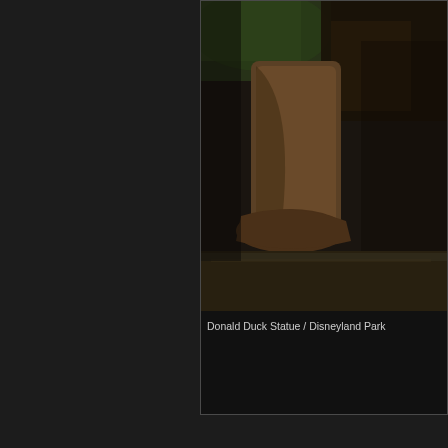[Figure (photo): Close-up photo of a bronze Donald Duck statue base/feet at Disneyland Park, with dark bronze finish visible against a blurred background with greenery]
Donald Duck Statue / Disneyland Park
[Figure (photo): Photo of Sleeping Beauty Castle towers at Disneyland Park, showing the teal/green spired turrets and white stone walls against a clear blue sky]